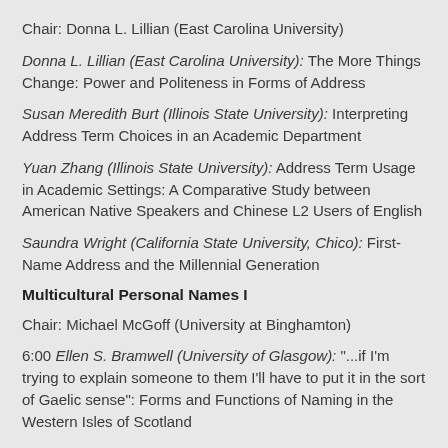Chair: Donna L. Lillian (East Carolina University)
Donna L. Lillian (East Carolina University): The More Things Change: Power and Politeness in Forms of Address
Susan Meredith Burt (Illinois State University): Interpreting Address Term Choices in an Academic Department
Yuan Zhang (Illinois State University): Address Term Usage in Academic Settings: A Comparative Study between American Native Speakers and Chinese L2 Users of English
Saundra Wright (California State University, Chico): First-Name Address and the Millennial Generation
Multicultural Personal Names I
Chair: Michael McGoff (University at Binghamton)
6:00 Ellen S. Bramwell (University of Glasgow): "...if I'm trying to explain someone to them I'll have to put it in the sort of Gaelic sense": Forms and Functions of Naming in the Western Isles of Scotland